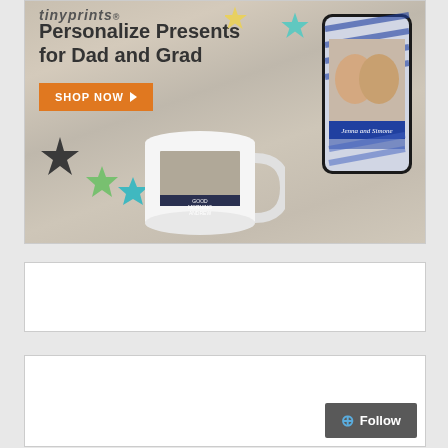[Figure (photo): Tiny Prints advertisement banner showing personalized gifts — a custom photo mug and a navy striped phone case with photos. Text reads 'Personalize Presents for Dad and Grad' with an orange 'SHOP NOW' button. Wood plank background with colorful star decorations.]
[Figure (photo): Empty white advertisement placeholder box]
[Figure (photo): Empty white advertisement placeholder box with Follow button]